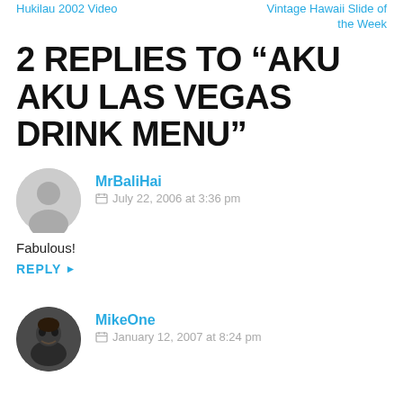Hukilau 2002 Video | Vintage Hawaii Slide of the Week
2 REPLIES TO “AKU AKU LAS VEGAS DRINK MENU”
MrBaliHai
July 22, 2006 at 3:36 pm
Fabulous!
REPLY
MikeOne
January 12, 2007 at 8:24 pm